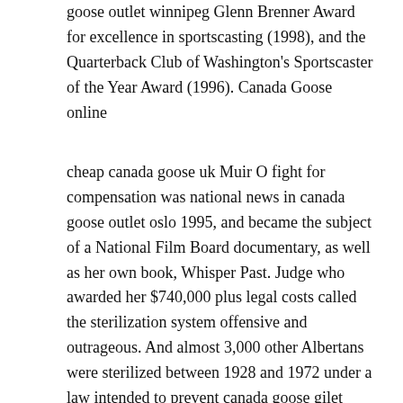goose outlet winnipeg Glenn Brenner Award for excellence in sportscasting (1998), and the Quarterback Club of Washington's Sportscaster of the Year Award (1996). Canada Goose online
cheap canada goose uk Muir O fight for compensation was national news in canada goose outlet oslo 1995, and became the subject of a National Film Board documentary, as well as her own book, Whisper Past. Judge who awarded her $740,000 plus legal costs called the sterilization system offensive and outrageous. And almost 3,000 other Albertans were sterilized between 1928 and 1972 under a law intended to prevent canada goose gilet mens uk those the province called defectives from passing on my link their genes.. cheap canada goose uk